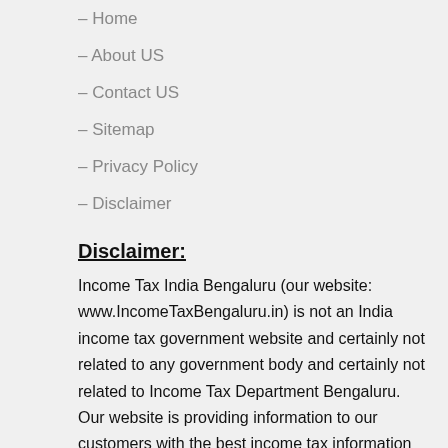– Home
– About US
– Contact US
– Sitemap
– Privacy Policy
– Disclaimer
Disclaimer:
Income Tax India Bengaluru (our website: www.IncomeTaxBengaluru.in) is not an India income tax government website and certainly not related to any government body and certainly not related to Income Tax Department Bengaluru. Our website is providing information to our customers with the best income tax information and services for our clients or customers benefits without effect any person, company, trust or organization brand value. We do not claim to be any government body and we are just an information website or portal that covers